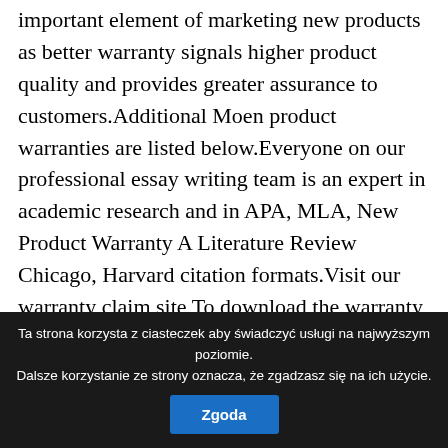important element of marketing new products as better warranty signals higher product quality and provides greater assurance to customers.Additional Moen product warranties are listed below.Everyone on our professional essay writing team is an expert in academic research and in APA, MLA, New Product Warranty A Literature Review Chicago, Harvard citation formats.Visit our warranty claim site To download the warranty for a specific Gentek product, view the Literature tab on the relevant window or siding product page Product Literature.Please be advised that printed literature lead times are running 2-3 weeks.Metal roofing and siding samples will be supplied based on availability in inventory at the time of this request
Ta strona korzysta z ciasteczek aby świadczyć usługi na najwyższym poziomie. Dalsze korzystanie ze strony oznacza, że zgadzasz się na ich użycie.